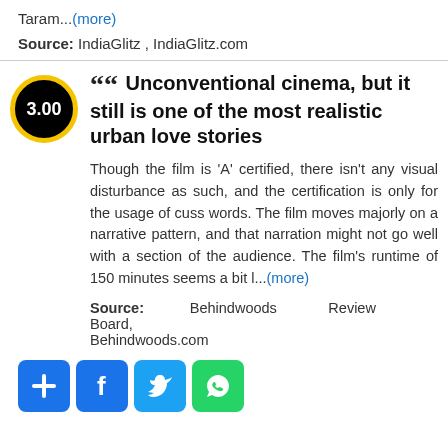Taram...(more)
Source: IndiaGlitz , IndiaGlitz.com
““ Unconventional cinema, but it still is one of the most realistic urban love stories
Though the film is 'A' certified, there isn't any visual disturbance as such, and the certification is only for the usage of cuss words. The film moves majorly on a narrative pattern, and that narration might not go well with a section of the audience. The film's runtime of 150 minutes seems a bit l...(more)
Source: Behindwoods Review Board, Behindwoods.com
[Figure (infographic): Social sharing buttons: add (+), Facebook (f), Twitter bird, WhatsApp icons]